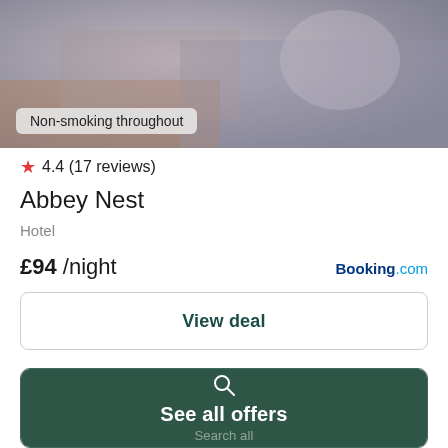[Figure (photo): Blurred hotel room interior photo with 'Non-smoking throughout' label overlay]
4.4 (17 reviews)
Abbey Nest
Hotel
£94 /night
Booking.com
View deal
See all offers